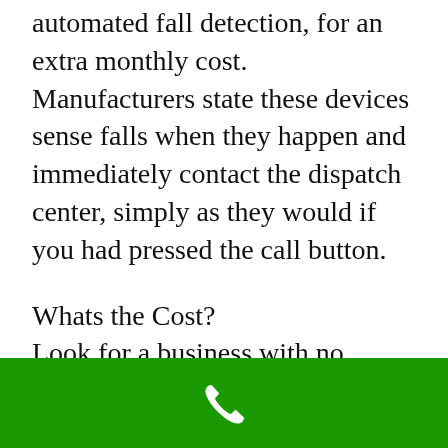automated fall detection, for an extra monthly cost. Manufacturers state these devices sense falls when they happen and immediately contact the dispatch center, simply as they would if you had pressed the call button.
Whats the Cost?
Look for a business with no additional costs related to devices, shipping, setup, activation, or service and repair. Don't fall for rip-offs that offer totally free service or “do not be utilized” service costs.
[Figure (illustration): Green bar at bottom of page with a white phone handset icon centered]